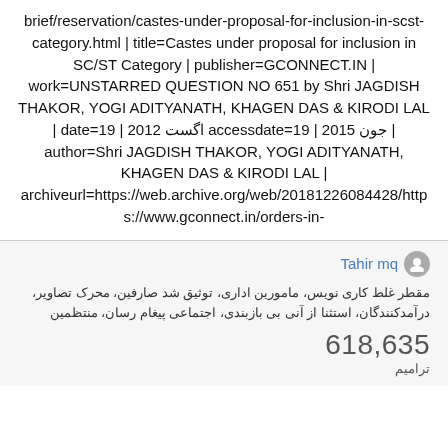brief/reservation/castes-under-proposal-for-inclusion-in-scst-category.html | title=Castes under proposal for inclusion in SC/ST Category | publisher=GCONNECT.IN | work=UNSTARRED QUESTION NO 651 by Shri JAGDISH THAKOR, YOGI ADITYANATH, KHAGEN DAS & KIRODI LAL | date=19 اگست 2012 | accessdate=19 | جون 2015 | author=Shri JAGDISH THAKOR, YOGI ADITYANATH, KHAGEN DAS & KIRODI LAL | archiveurl=https://web.archive.org/web/20181226084428/https://www.gconnect.in/orders-in-
Tahir mq
مقطر غلط کاری نویس، مامورین اداری، توثیق شد‌ صارفین، محرک تصاویر، درآمدکنندگان، استثنا از آنی بی بازبندی، اجتماعی پیغام رسان، منتظمین
618,635
ترامیم